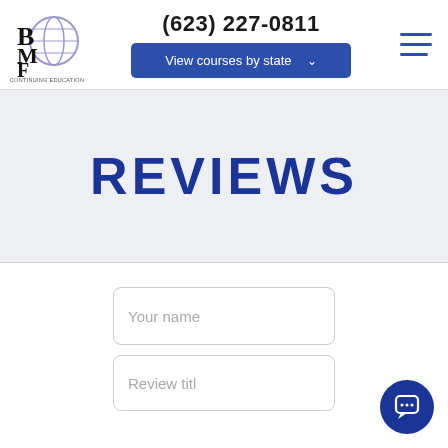[Figure (logo): BMF Continuing Education logo with stylized letters B, M, F and a globe/sphere graphic, text 'CONTINUING EDUCATION' below]
(623) 227-0811
View courses by state ∨
[Figure (other): Hamburger menu icon with three horizontal blue lines]
REVIEWS
Your name
Review titl